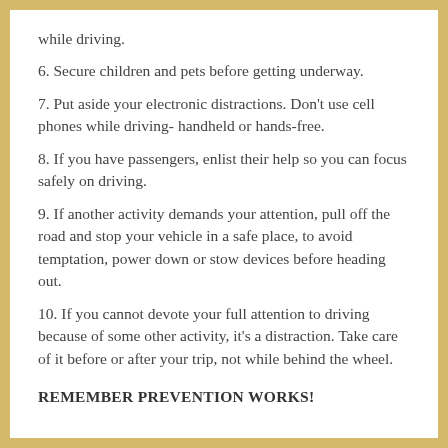while driving.
6. Secure children and pets before getting underway.
7. Put aside your electronic distractions. Don’t use cell phones while driving- handheld or hands-free.
8. If you have passengers, enlist their help so you can focus safely on driving.
9. If another activity demands your attention, pull off the road and stop your vehicle in a safe place, to avoid temptation, power down or stow devices before heading out.
10. If you cannot devote your full attention to driving because of some other activity, it’s a distraction. Take care of it before or after your trip, not while behind the wheel.
REMEMBER PREVENTION WORKS!